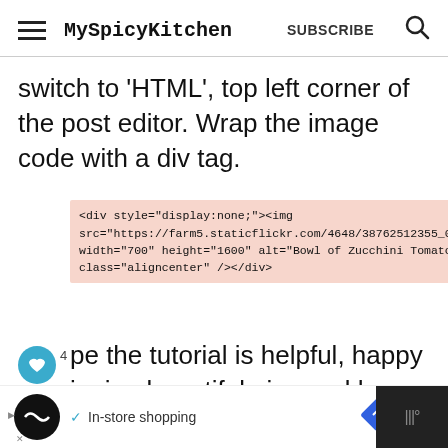MySpicyKitchen  SUBSCRIBE
switch to 'HTML', top left corner of the post editor. Wrap the image code with a div tag.
<div style="display:none;"><img src="https://farm5.staticflickr.com/4648/38762512355_0d8685f9b4_o.jpg" width="700" height="1600" alt="Bowl of Zucchini Tomato Chutney" class="aligncenter" /></div>
pe the tutorial is helpful, happy igning beautiful pins and happy pinning!
In-store shopping